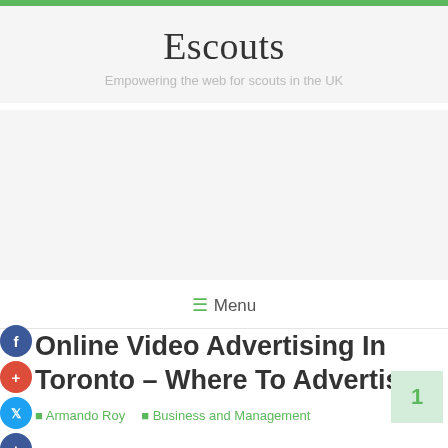Escouts
Empowering the web for scouts in the UK
☰ Menu
Online Video Advertising In Toronto – Where To Advertise
Armando Roy   Business and Management